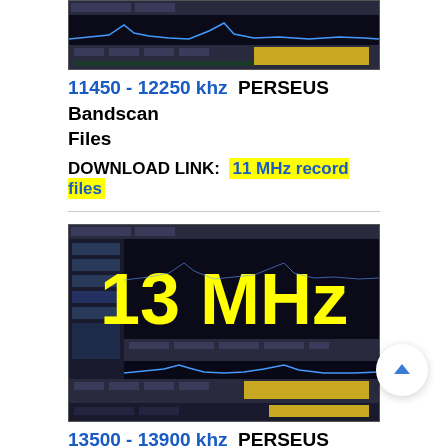[Figure (screenshot): PERSEUS SDR software screenshot showing spectrum at 11 MHz band]
11450 - 12250 khz  PERSEUS Bandscan Files
DOWNLOAD LINK:  11 MHz record files
[Figure (screenshot): PERSEUS SDR software screenshot showing 13 MHz label over spectrum display]
13500 - 13900 khz  PERSEUS Bandscan Files
DOWNLOAD LINK:  13 MHz record files
[Figure (screenshot): PERSEUS SDR software screenshot showing 15 MHz label over spectrum display (partial)]